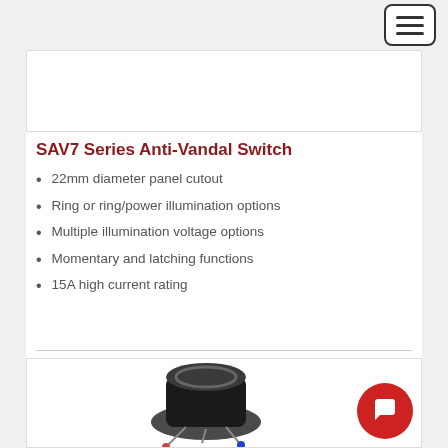[Figure (screenshot): Hamburger menu button in top right corner]
[Figure (photo): Top image placeholder box, white/blank]
SAV7 Series Anti-Vandal Switch
22mm diameter panel cutout
Ring or ring/power illumination options
Multiple illumination voltage options
Momentary and latching functions
15A high current rating
[Figure (photo): Product photo of SAV7 Series Anti-Vandal Switch, partially visible at bottom of page]